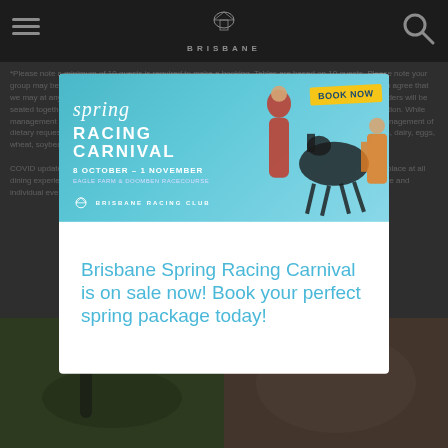[Figure (screenshot): Brisbane Racing Club website screenshot showing a modal popup over a dimmed background page. The background shows a dark header with hamburger menu, Brisbane Racing Club logo, and search icon, plus body text about booking requirements and COVID policies, with horse racing photos at bottom. A modal dialog overlays the page featuring a Spring Racing Carnival advertisement banner (8 October – 1 November, Eagle Farm & Doomben Racecourse) with a 'Book Now' button, followed by text: 'Brisbane Spring Racing Carnival is on sale now! Book your perfect spring package today!' with a close (X) button.]